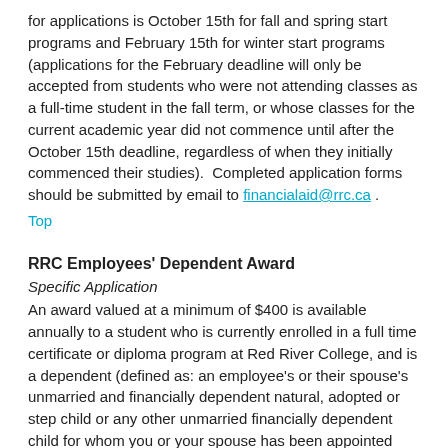for applications is October 15th for fall and spring start programs and February 15th for winter start programs (applications for the February deadline will only be accepted from students who were not attending classes as a full-time student in the fall term, or whose classes for the current academic year did not commence until after the October 15th deadline, regardless of when they initially commenced their studies). Completed application forms should be submitted by email to financialaid@rrc.ca .
Top
RRC Employees' Dependent Award
Specific Application
An award valued at a minimum of $400 is available annually to a student who is currently enrolled in a full time certificate or diploma program at Red River College, and is a dependent (defined as: an employee's or their spouse's unmarried and financially dependent natural, adopted or step child or any other unmarried financially dependent child for whom you or your spouse has been appointed guardian and who is less than 25 years of age; or your spouse or common-law partner who is not engaged in full time employment and dependent on you for